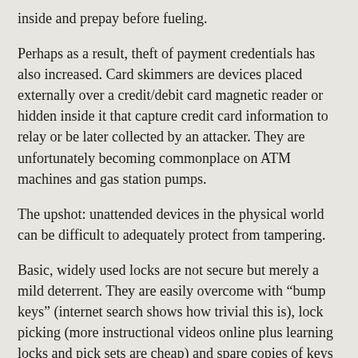inside and prepay before fueling.
Perhaps as a result, theft of payment credentials has also increased. Card skimmers are devices placed externally over a credit/debit card magnetic reader or hidden inside it that capture credit card information to relay or be later collected by an attacker. They are unfortunately becoming commonplace on ATM machines and gas station pumps.
The upshot: unattended devices in the physical world can be difficult to adequately protect from tampering.
Basic, widely used locks are not secure but merely a mild deterrent. They are easily overcome with “bump keys” (internet search shows how trivial this is), lock picking (more instructional videos online plus learning locks and pick sets are cheap) and spare copies of keys can be made or acquired. Cars have long moved on from simple keys to more complex mechanical locks that make it more difficult to copy keys. They also embed RFID as essentially a second factor authentication on the physical key. These more advanced keys are greatly improved over the more common ones but not without security flaws as researchers are finding ways to